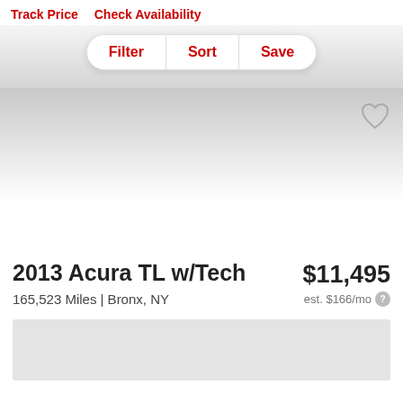Track Price   Check Availability
Filter  Sort  Save
[Figure (other): Car listing image area with gradient background and heart/favorite icon in top right corner]
2013 Acura TL w/Tech
$11,495
165,523 Miles | Bronx, NY
est. $166/mo
[Figure (other): Gray advertisement or content placeholder block]